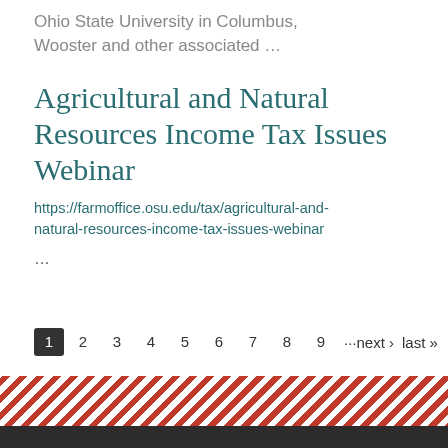Ohio State University in Columbus, Wooster and other associated …
Agricultural and Natural Resources Income Tax Issues Webinar
https://farmoffice.osu.edu/tax/agricultural-and-natural-resources-income-tax-issues-webinar
…
1 2 3 4 5 6 7 8 9 ···next › last »